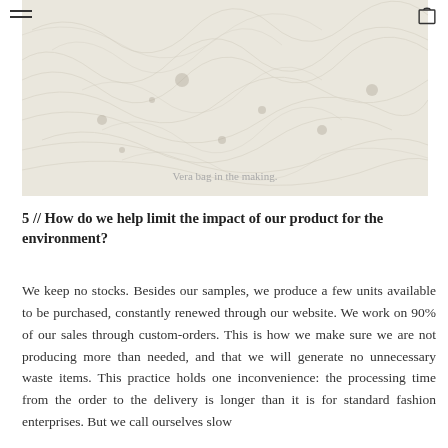[Figure (photo): Close-up photo of natural fiber material (Vera bag in the making), with muted beige/cream tones showing raw textile or straw-like material.]
Vera bag in the making.
5 // How do we help limit the impact of our product for the environment?
We keep no stocks. Besides our samples, we produce a few units available to be purchased, constantly renewed through our website. We work on 90% of our sales through custom-orders. This is how we make sure we are not producing more than needed, and that we will generate no unnecessary waste items. This practice holds one inconvenience: the processing time from the order to the delivery is longer than it is for standard fashion enterprises. But we call ourselves slow